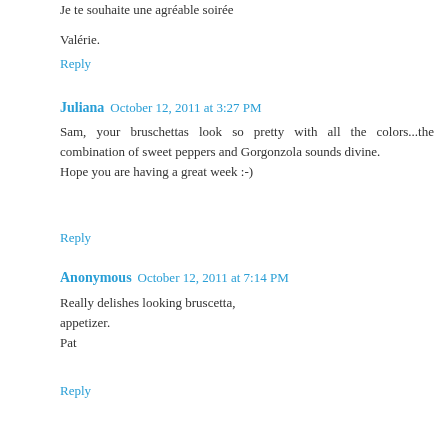Je te souhaite une agréable soirée

Valérie.
Reply
Juliana  October 12, 2011 at 3:27 PM
Sam, your bruschettas look so pretty with all the colors...the combination of sweet peppers and Gorgonzola sounds divine.
Hope you are having a great week :-)
Reply
Anonymous  October 12, 2011 at 7:14 PM
Really delishes looking bruscetta,
appetizer.
Pat
Reply